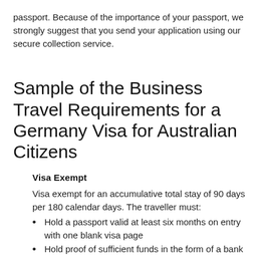passport. Because of the importance of your passport, we strongly suggest that you send your application using our secure collection service.
Sample of the Business Travel Requirements for a Germany Visa for Australian Citizens
Visa Exempt
Visa exempt for an accumulative total stay of 90 days per 180 calendar days. The traveller must:
Hold a passport valid at least six months on entry with one blank visa page
Hold proof of sufficient funds in the form of a bank